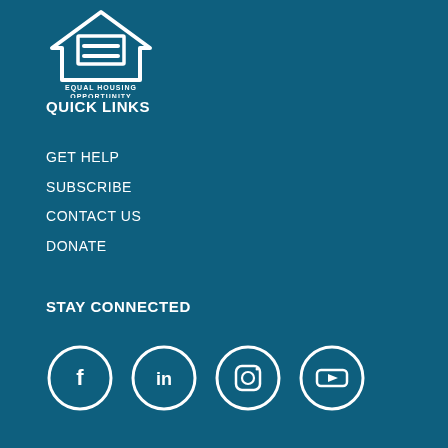[Figure (logo): Equal Housing Opportunity logo — white house outline with equal sign, text EQUAL HOUSING OPPORTUNITY below]
QUICK LINKS
GET HELP
SUBSCRIBE
CONTACT US
DONATE
STAY CONNECTED
[Figure (illustration): Four social media icon circles: Facebook (f), LinkedIn (in), Instagram (camera), YouTube (play button)]